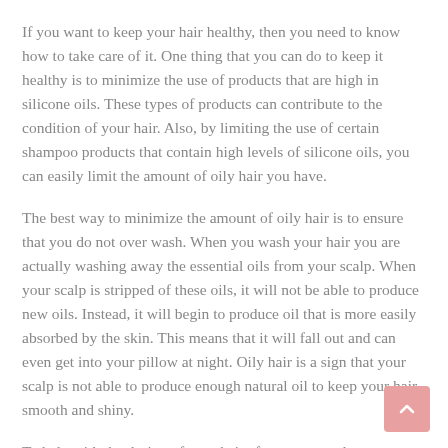If you want to keep your hair healthy, then you need to know how to take care of it. One thing that you can do to keep it healthy is to minimize the use of products that are high in silicone oils. These types of products can contribute to the condition of your hair. Also, by limiting the use of certain shampoo products that contain high levels of silicone oils, you can easily limit the amount of oily hair you have.
The best way to minimize the amount of oily hair is to ensure that you do not over wash. When you wash your hair you are actually washing away the essential oils from your scalp. When your scalp is stripped of these oils, it will not be able to produce new oils. Instead, it will begin to produce oil that is more easily absorbed by the skin. This means that it will fall out and can even get into your pillow at night. Oily hair is a sign that your scalp is not able to produce enough natural oil to keep your hair smooth and shiny.
To help with the drying of your hair after every wash,